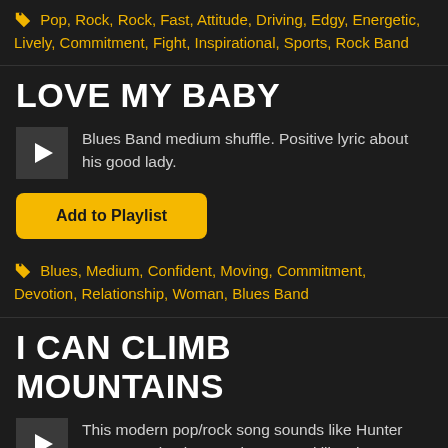Pop, Rock, Rock, Fast, Attitude, Driving, Edgy, Energetic, Lively, Commitment, Fight, Inspirational, Sports, Rock Band
LOVE MY BABY
Blues Band medium shuffle. Positive lyric about his good lady.
Add to Playlist
Blues, Medium, Confident, Moving, Commitment, Devotion, Relationship, Woman, Blues Band
I CAN CLIMB MOUNTAINS
This modern pop/rock song sounds like Hunter Hayes or Big Time Rush. A gospel like chorus seperates this song from